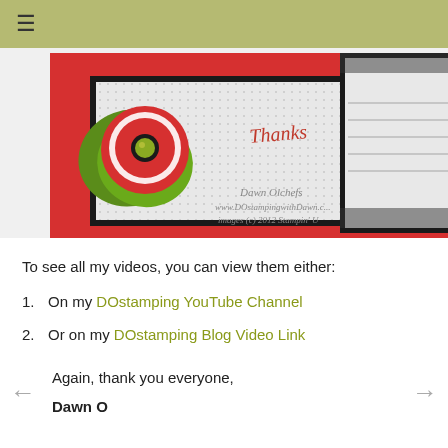≡
[Figure (photo): Craft card making photo showing a handmade 'Thanks' card with red background, black mat, green and red flower embellishment with dark center, and white doily accent on patterned paper. Partial view of a second card on right. Watermark text: Dawn Olchefs, www.DOstampingwithDawn.c..., images (c) 2012 Stampin' U]
To see all my videos, you can view them either:
1.  On my DOstamping YouTube Channel
2.  Or on my DOstamping Blog Video Link
Again, thank you everyone,
Dawn O